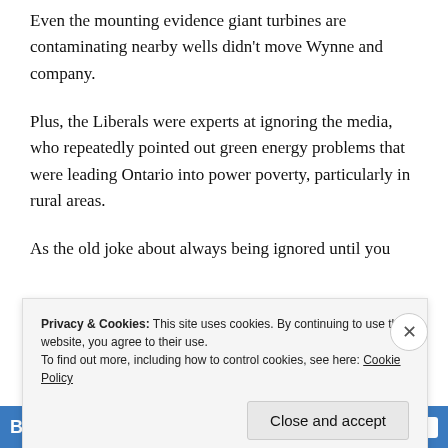Even the mounting evidence giant turbines are contaminating nearby wells didn't move Wynne and company.
Plus, the Liberals were experts at ignoring the media, who repeatedly pointed out green energy problems that were leading Ontario into power poverty, particularly in rural areas.
As the old joke about always being ignored until you
Privacy & Cookies: This site uses cookies. By continuing to use this website, you agree to their use.
To find out more, including how to control cookies, see here: Cookie Policy